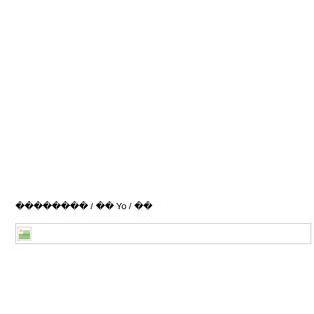▯▯▯▯▯▯▯▯ / ▯▯ Yo / ▯▯
[Figure (other): Broken image placeholder icon with a small landscape thumbnail icon at left edge, followed by a horizontal line spanning across the page]